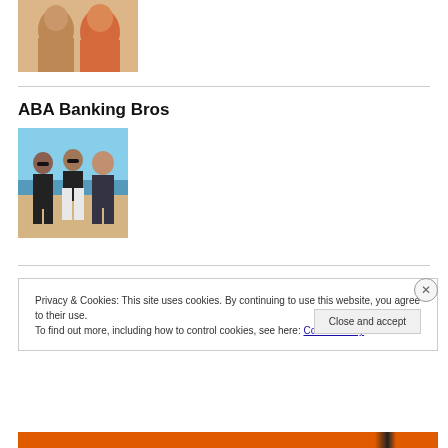[Figure (photo): Cropped photo of two people smiling, partial view of faces]
ABA Banking Bros
[Figure (photo): Three men standing together on a beach, wearing dark shirts and sunglasses]
Privacy & Cookies: This site uses cookies. By continuing to use this website, you agree to their use.
To find out more, including how to control cookies, see here: Cookie Policy
Close and accept